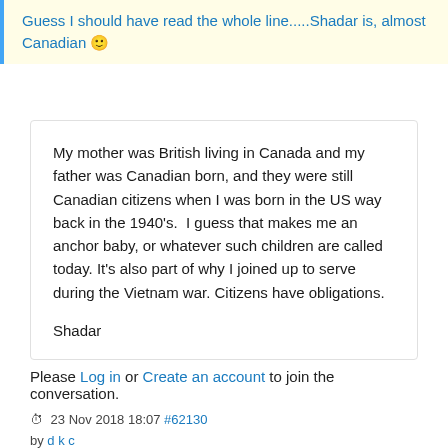Guess I should have read the whole line.....Shadar is, almost Canadian 🙂
My mother was British living in Canada and my father was Canadian born, and they were still Canadian citizens when I was born in the US way back in the 1940's. I guess that makes me an anchor baby, or whatever such children are called today. It's also part of why I joined up to serve during the Vietnam war. Citizens have obligations.

Shadar
Please Log in or Create an account to join the conversation.
23 Nov 2018 18:07 #62130
by d k c